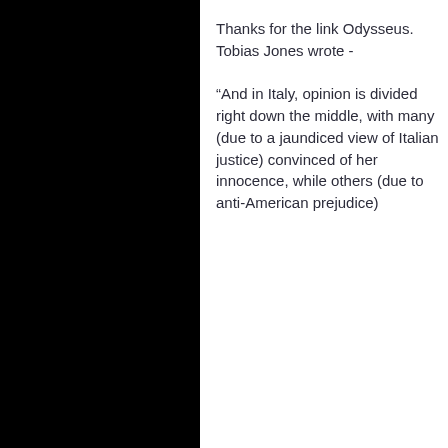Thanks for the link Odysseus. Tobias Jones wrote -

“And in Italy, opinion is divided right down the middle, with many (due to a jaundiced view of Italian justice) convinced of her innocence, while others (due to anti-American prejudice)